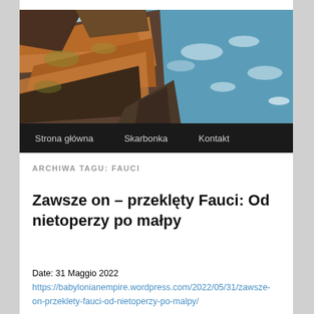[Figure (photo): Coastal rocky cliff landscape with orange/brown rocks on the left and blue ocean waves on the right]
Strona główna   Skarbonka   Kontakt
ARCHIWA TAGU: FAUCI
Zawsze on – przeklęty Fauci: Od nietoperzy po małpy
Date: 31 Maggio 2022
https://babylonianempire.wordpress.com/2022/05/31/zawsze-on-przeklety-fauci-od-nietoperzy-po-malpy/